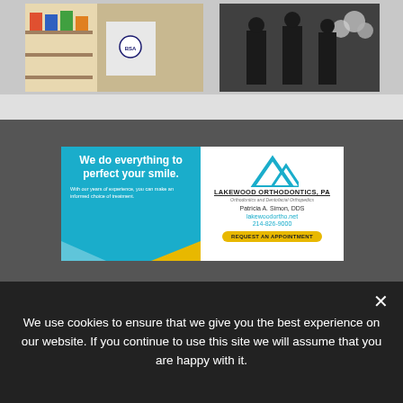[Figure (photo): Two photos side by side at top of page: left photo shows a person in a Boy Scouts shirt holding items in a store; right photo shows people at an event with balloons]
[Figure (infographic): Advertisement for Lakewood Orthodontics, PA. Left side has teal background with bold white text 'We do everything to perfect your smile.' and smaller text 'With our years of experience, you can make an informed choice of treatment.' Right side white background with logo triangles, 'LAKEWOOD ORTHODONTICS, PA', 'Orthodontics and Dentofacial Orthopedics', 'Patricia A. Simon, DDS', 'lakewoodortho.net', '214-826-9000', and a yellow 'REQUEST AN APPOINTMENT' button.]
We use cookies to ensure that we give you the best experience on our website. If you continue to use this site we will assume that you are happy with it.